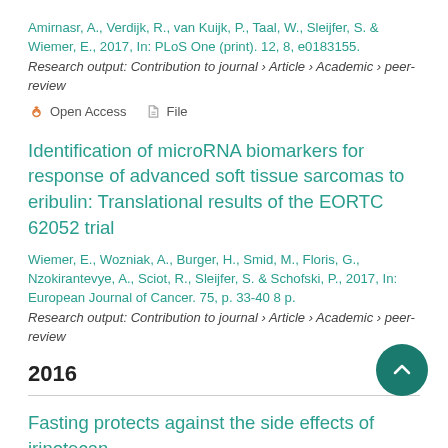Amirnasr, A., Verdijk, R., van Kuijk, P., Taal, W., Sleijfer, S. & Wiemer, E., 2017, In: PLoS One (print). 12, 8, e0183155.
Research output: Contribution to journal › Article › Academic › peer-review
Open Access   File
Identification of microRNA biomarkers for response of advanced soft tissue sarcomas to eribulin: Translational results of the EORTC 62052 trial
Wiemer, E., Wozniak, A., Burger, H., Smid, M., Floris, G., Nzokirantevye, A., Sciot, R., Sleijfer, S. & Schofski, P., 2017, In: European Journal of Cancer. 75, p. 33-40 8 p.
Research output: Contribution to journal › Article › Academic › peer-review
2016
Fasting protects against the side effects of irinotecan